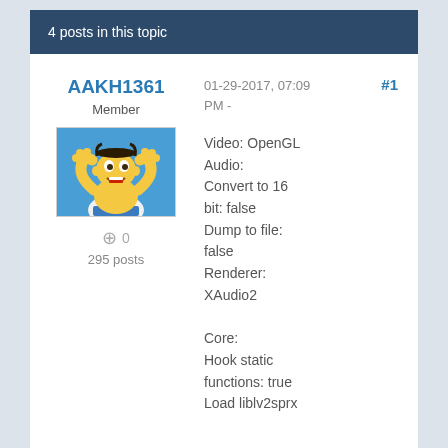4 posts in this topic
AAKH1361
Member
[Figure (illustration): Avatar image of Homer Simpson with hands raised, blue background]
⊕ 0
295 posts
01-29-2017, 07:09 PM -
#1
Video: OpenGL Audio: Convert to 16 bit: false Dump to file: false Renderer: XAudio2

Core: Hook static functions: true Load liblv2sprx